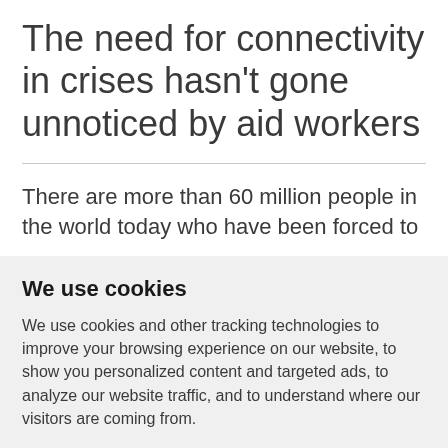The need for connectivity in crises hasn't gone unnoticed by aid workers
There are more than 60 million people in the world today who have been forced to
We use cookies
We use cookies and other tracking technologies to improve your browsing experience on our website, to show you personalized content and targeted ads, to analyze our website traffic, and to understand where our visitors are coming from.